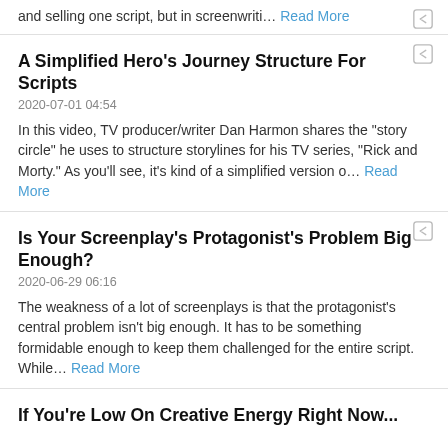and selling one script, but in screenwriti… Read More
A Simplified Hero's Journey Structure For Scripts
2020-07-01 04:54
In this video, TV producer/writer Dan Harmon shares the "story circle" he uses to structure storylines for his TV series, "Rick and Morty." As you'll see, it's kind of a simplified version o… Read More
Is Your Screenplay's Protagonist's Problem Big Enough?
2020-06-29 06:16
The weakness of a lot of screenplays is that the protagonist's central problem isn't big enough. It has to be something formidable enough to keep them challenged for the entire script. While… Read More
If You're Low On Creative Energy Right Now...